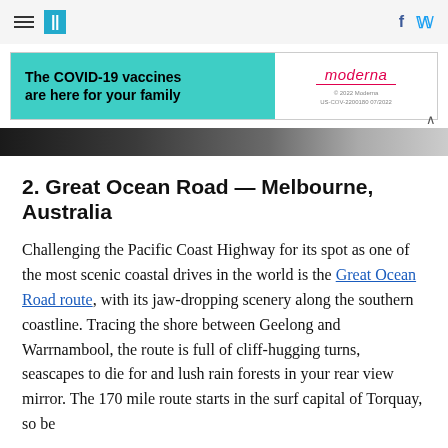HuffPost navigation header with hamburger menu, site logo, Facebook and Twitter icons
[Figure (other): Moderna COVID-19 vaccine advertisement banner: 'The COVID-19 vaccines are here for your family' with Moderna logo on teal/white background]
[Figure (photo): Dark partial photo strip at top of article image]
2. Great Ocean Road — Melbourne, Australia
Challenging the Pacific Coast Highway for its spot as one of the most scenic coastal drives in the world is the Great Ocean Road route, with its jaw-dropping scenery along the southern coastline. Tracing the shore between Geelong and Warrnambool, the route is full of cliff-hugging turns, seascapes to die for and lush rain forests in your rear view mirror. The 170 mile route starts in the surf capital of Torquay, so be